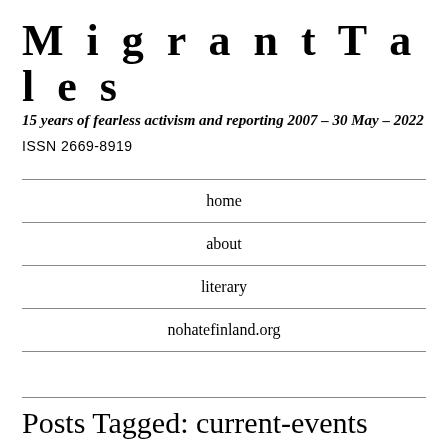MigrantTales
15 years of fearless activism and reporting 2007 – 30 May – 2022
ISSN 2669-8919
home
about
literary
nohatefinland.org
Posts Tagged: current-events